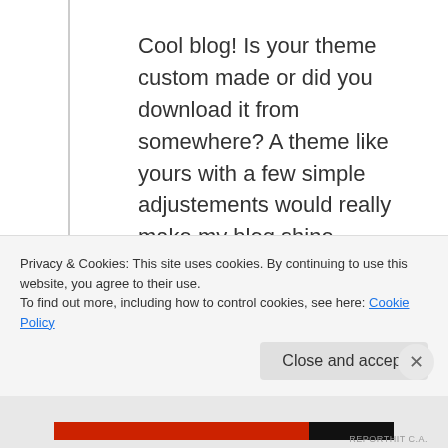Cool blog! Is your theme custom made or did you download it from somewhere? A theme like yours with a few simple adjustements would really make my blog shine.

Please let me know where you got your theme. With
thanks
Privacy & Cookies: This site uses cookies. By continuing to use this website, you agree to their use.
To find out more, including how to control cookies, see here: Cookie Policy